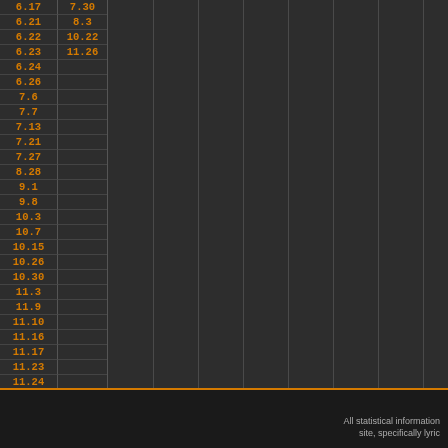| Col1 | Col2 |
| --- | --- |
| 6.17 | 7.30 |
| 6.21 | 8.3 |
| 6.22 | 10.22 |
| 6.23 | 11.26 |
| 6.24 |  |
| 6.26 |  |
| 7.6 |  |
| 7.7 |  |
| 7.13 |  |
| 7.21 |  |
| 7.27 |  |
| 8.28 |  |
| 9.1 |  |
| 9.8 |  |
| 10.3 |  |
| 10.7 |  |
| 10.15 |  |
| 10.26 |  |
| 10.30 |  |
| 11.3 |  |
| 11.9 |  |
| 11.10 |  |
| 11.16 |  |
| 11.17 |  |
| 11.23 |  |
| 11.24 |  |
| 11.26 |  |
| 12.1 |  |
| 12.2 |  |
| 12.7 |  |
| 12.28 |  |
| 12.31 |  |
All statistical informa­tion... site, specifically lyric...